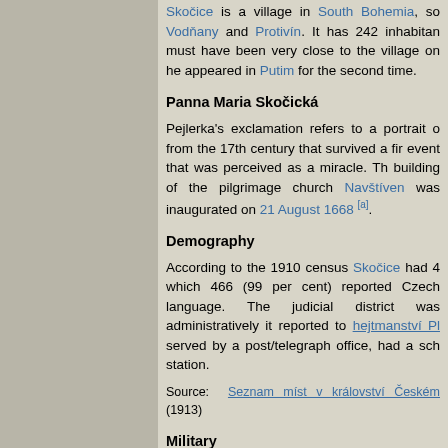Skočice is a village in South Bohemia, south of Vodňany and Protivín. It has 242 inhabitants. must have been very close to the village on he appeared in Putim for the second time.
Panna Maria Skočická
Pejlerka's exclamation refers to a portrait of from the 17th century that survived a fire event that was perceived as a miracle. The building of the pilgrimage church Navštíven was inaugurated on 21 August 1668 [a].
Demography
According to the 1910 census Skočice had 4 which 466 (99 per cent) reported Czech language. The judicial district was administratively it reported to hejtmanství Pl served by a post/telegraph office, had a sch station.
Source: Seznam míst v království Českém (1913)
Military
According to its geographical location within districts infantrymen from Skočice would us